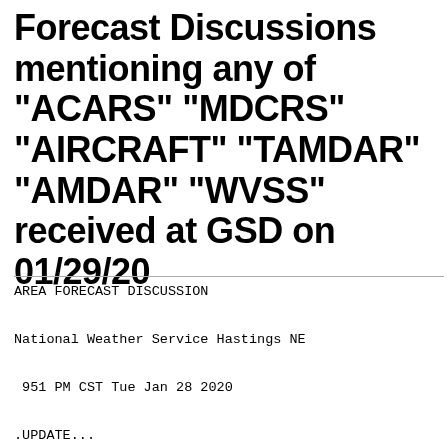Forecast Discussions mentioning any of "ACARS" "MDCRS" "AIRCRAFT" "TAMDAR" "AMDAR" "WVSS" received at GSD on 01/29/20
AREA FORECAST DISCUSSION

National Weather Service Hastings NE

 951 PM CST Tue Jan 28 2020

.UPDATE...
Issued at 948 PM CST Tue Jan 28 2020

Updated the dense fog advisory to begin earlier tonight a sites that have hit 1/2SM to 3/4SM already, with this occ more often and decreasing with time. Opted not to expand